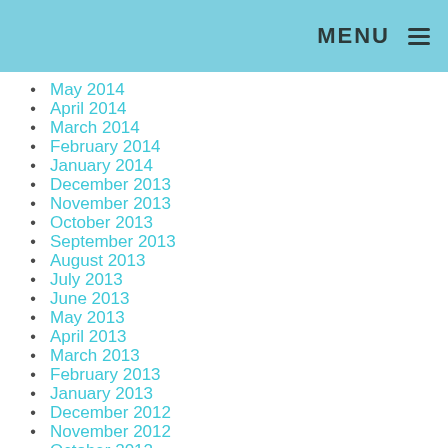MENU
May 2014
April 2014
March 2014
February 2014
January 2014
December 2013
November 2013
October 2013
September 2013
August 2013
July 2013
June 2013
May 2013
April 2013
March 2013
February 2013
January 2013
December 2012
November 2012
October 2012